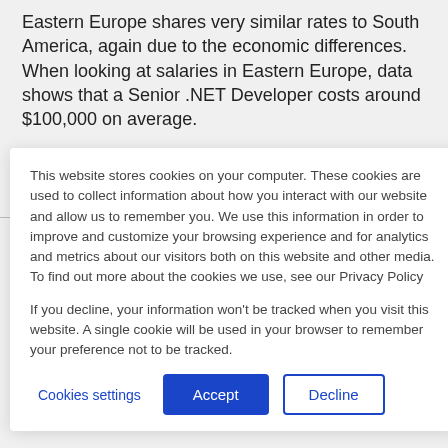Eastern Europe shares very similar rates to South America, again due to the economic differences. When looking at salaries in Eastern Europe, data shows that a Senior .NET Developer costs around $100,000 on average.
Hourly rates for .NET Developers
This website stores cookies on your computer. These cookies are used to collect information about how you interact with our website and allow us to remember you. We use this information in order to improve and customize your browsing experience and for analytics and metrics about our visitors both on this website and other media. To find out more about the cookies we use, see our Privacy Policy

If you decline, your information won't be tracked when you visit this website. A single cookie will be used in your browser to remember your preference not to be tracked.